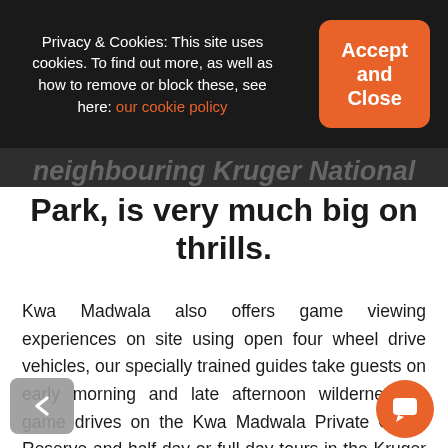Privacy & Cookies: This site uses cookies. To find out more, as well as how to remove or block these, see here: our cookie policy
neighbouring Kruger National Park, is very much big on thrills.
Kwa Madwala also offers game viewing experiences on site using open four wheel drive vehicles, our specially trained guides take guests on early morning and late afternoon wilderness & game drives on the Kwa Madwala Private Game Reserve and half day or full day tours in the Kruger National Park, Kwa Madwala also offers Walking Safaris which should not be missed.